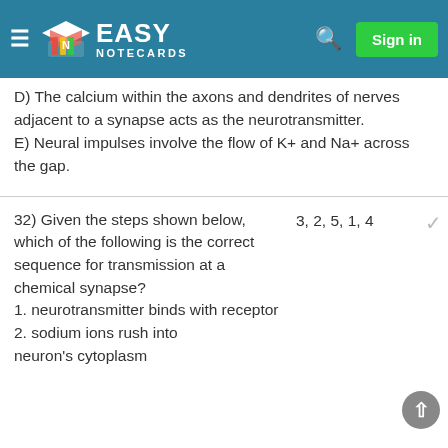Easy Notecards — Sign in
D) The calcium within the axons and dendrites of nerves adjacent to a synapse acts as the neurotransmitter.
E) Neural impulses involve the flow of K+ and Na+ across the gap.
32) Given the steps shown below, which of the following is the correct sequence for transmission at a chemical synapse?
1. neurotransmitter binds with receptor
2. sodium ions rush into neuron's cytoplasm
3, 2, 5, 1, 4